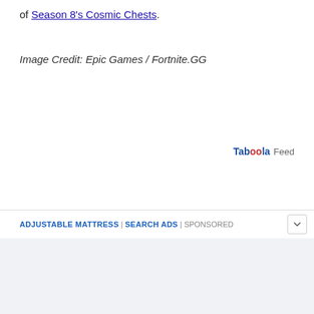of Season 8's Cosmic Chests.
Image Credit: Epic Games / Fortnite.GG
Taboola Feed
ADJUSTABLE MATTRESS | SEARCH ADS | SPONSORED